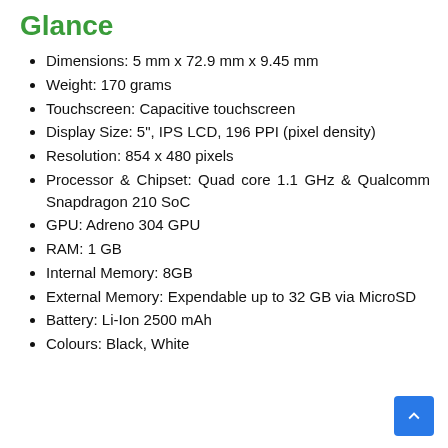Glance
Dimensions: 5 mm x 72.9 mm x 9.45 mm
Weight: 170 grams
Touchscreen: Capacitive touchscreen
Display Size: 5", IPS LCD, 196 PPI (pixel density)
Resolution: 854 x 480 pixels
Processor & Chipset: Quad core 1.1 GHz & Qualcomm Snapdragon 210 SoC
GPU: Adreno 304 GPU
RAM: 1 GB
Internal Memory: 8GB
External Memory: Expendable up to 32 GB via MicroSD
Battery: Li-Ion 2500 mAh
Colours: Black, White